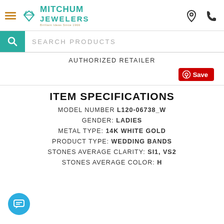[Figure (logo): Mitchum Jewelers logo with teal text and diamond icon]
SEARCH PRODUCTS
AUTHORIZED RETAILER
[Figure (other): Pinterest Save button in red]
ITEM SPECIFICATIONS
MODEL NUMBER L120-06738_W
GENDER: LADIES
METAL TYPE: 14K WHITE GOLD
PRODUCT TYPE: WEDDING BANDS
STONES AVERAGE CLARITY: SI1, VS2
STONES AVERAGE COLOR: H